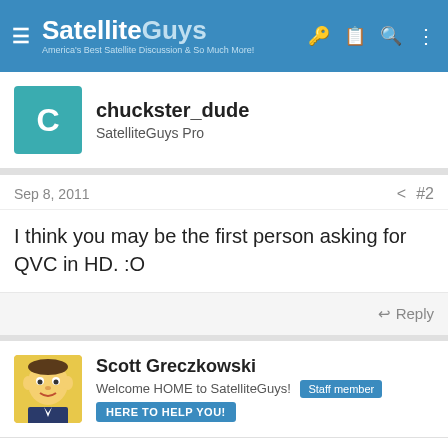SatelliteGuys — America's Best Satellite Discussion & So Much More!
chuckster_dude
SatelliteGuys Pro
Sep 8, 2011  #2
I think you may be the first person asking for QVC in HD. :O
Reply
Scott Greczkowski
Welcome HOME to SatelliteGuys!  Staff member
HERE TO HELP YOU!
Sep 8, 2011  #3
QVC HD was up in testing earlier this year but then